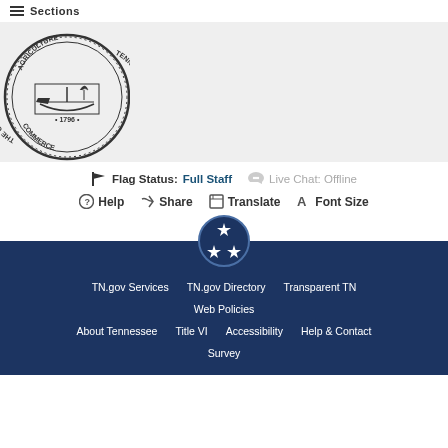Sections
[Figure (logo): Tennessee state seal — Agriculture and Commerce, 1796, circular seal with central scene]
Flag Status: Full Staff   Live Chat: Offline
Help   Share   Translate   Font Size
[Figure (logo): Tennessee tri-star logo in blue circle]
TN.gov Services   TN.gov Directory   Transparent TN   Web Policies   About Tennessee   Title VI   Accessibility   Help & Contact   Survey